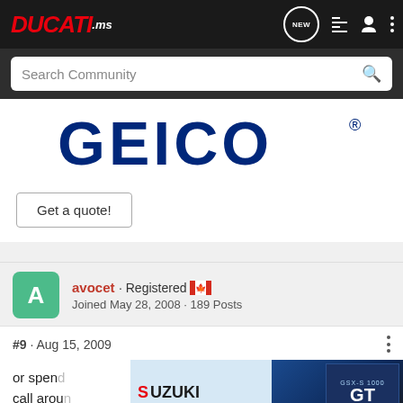DUCATI.ms
Search Community
[Figure (logo): GEICO logo — large navy blue block letters on white background with registered trademark symbol]
Get a quote!
avocet · Registered [Canadian flag]
Joined May 28, 2008 · 189 Posts
#9 · Aug 15, 2009
or spend... own.
call arou... you a
quote fo...
[Figure (photo): Suzuki advertisement banner showing a motorcycle rider on a blue GSX-S1000GT with text 'SUZUKI GSX-S1000GT+ shown. SEE IT NOW']